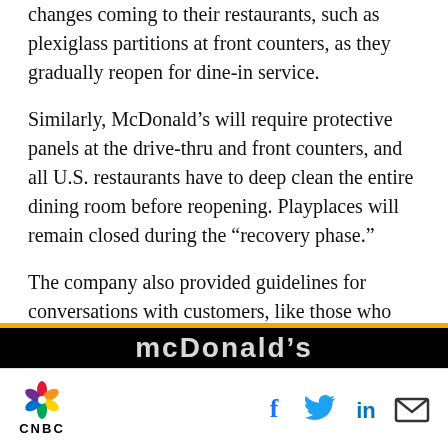changes coming to their restaurants, such as plexiglass partitions at front counters, as they gradually reopen for dine-in service.
Similarly, McDonald’s will require protective panels at the drive-thru and front counters, and all U.S. restaurants have to deep clean the entire dining room before reopening. Playplaces will remain closed during the “recovery phase.”
The company also provided guidelines for conversations with customers, like those who are not wearing masks or are panhandling.
[Figure (photo): McDonald's logo on dark background with yellow border strip at top]
CNBC logo with social media icons: Facebook, Twitter, LinkedIn, Email